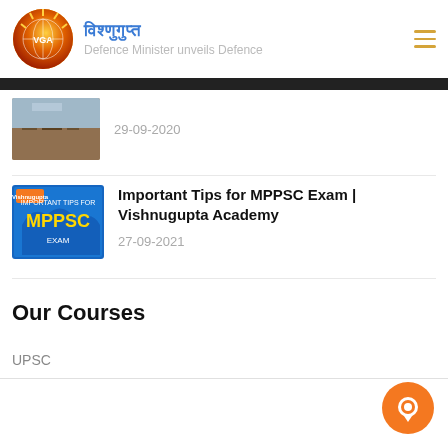विश्णुगुप्त | Defence Minister unveils Defence
29-09-2020
Important Tips for MPPSC Exam | Vishnugupta Academy
27-09-2021
Our Courses
UPSC